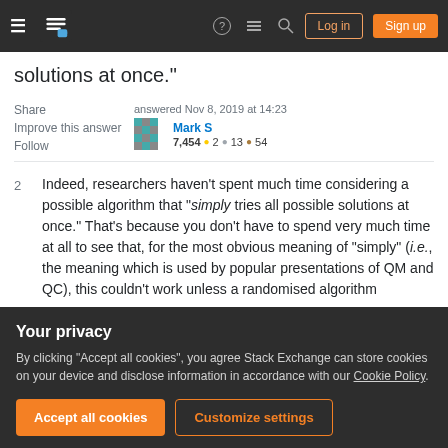Stack Exchange navigation bar with Log in and Sign up buttons
solutions at once."
Share   answered Nov 8, 2019 at 14:23
Improve this answer   Mark S   7,454 ●2 ●13 ●54
Follow
2  Indeed, researchers haven't spent much time considering a possible algorithm that "simply tries all possible solutions at once." That's because you don't have to spend very much time at all to see that, for the most obvious meaning of "simply" (i.e., the meaning which is used by popular presentations of QM and QC), this couldn't work unless a randomised algorithm
Your privacy
By clicking "Accept all cookies", you agree Stack Exchange can store cookies on your device and disclose information in accordance with our Cookie Policy.
Accept all cookies   Customize settings
Add a comment